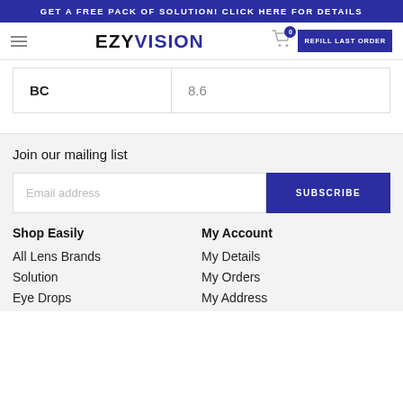GET A FREE PACK OF SOLUTION! CLICK HERE FOR DETAILS
[Figure (logo): EzyVision logo with hamburger menu, cart icon with badge 0, and REFILL LAST ORDER button]
| BC | 8.6 |
| --- | --- |
| BC | 8.6 |
Join our mailing list
Email address
SUBSCRIBE
Shop Easily
All Lens Brands
Solution
Eye Drops
My Account
My Details
My Orders
My Address